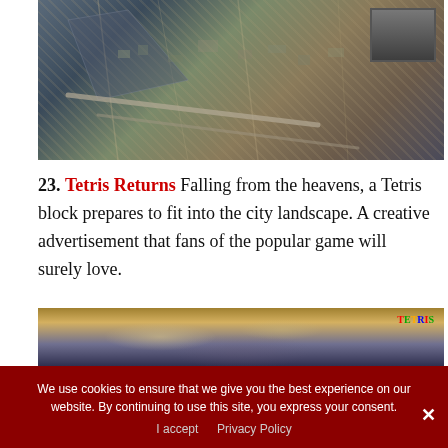[Figure (photo): Aerial view of a city from above, with a person or Tetris block falling/hovering, and a small thumbnail inset in the top-right corner.]
23. Tetris Returns Falling from the heavens, a Tetris block prepares to fit into the city landscape. A creative advertisement that fans of the popular game will surely love.
[Figure (photo): Dramatic sky with clouds at sunset or dusk, with a Tetris logo visible in the top-right corner.]
We use cookies to ensure that we give you the best experience on our website. By continuing to use this site, you express your consent.
I accept   Privacy Policy